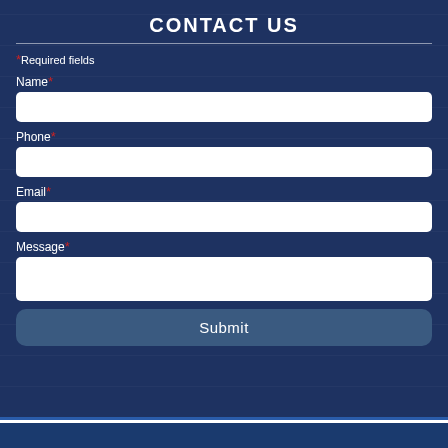CONTACT US
*Required fields
Name*
Phone*
Email*
Message*
Submit